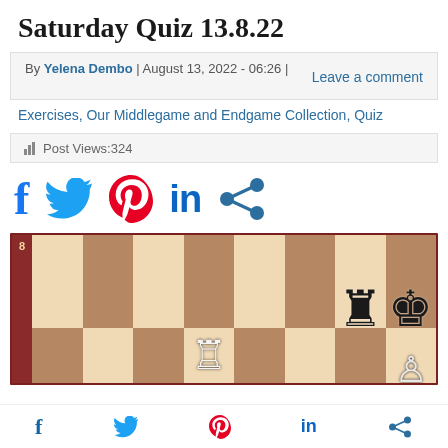Saturday Quiz 13.8.22
By Yelena Dembo | August 13, 2022 - 06:26 | Leave a comment
Exercises, Our Middlegame and Endgame Collection, Quiz
Post Views:324
[Figure (infographic): Social share icons: Facebook, Twitter, Pinterest, LinkedIn, Share]
[Figure (photo): Chess board showing rank 8 with black rook on g8, black king on h8, white rook on d7, white pawn on h7 (partially visible), partial view of chessboard]
[Figure (infographic): Footer social share icons: Facebook, Twitter, Pinterest, LinkedIn, Share]